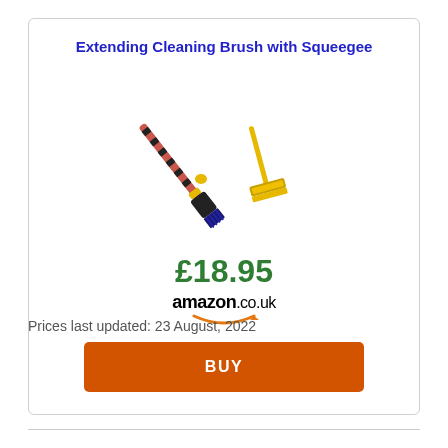Extending Cleaning Brush with Squeegee
[Figure (illustration): Product illustration of an extending cleaning brush with squeegee attachment — shows a telescopic pole with a brush head and separate squeegee blade, rendered diagonally]
£18.95
[Figure (logo): Amazon.co.uk logo with orange smile arrow underneath]
BUY
Prices last updated: 23 August, 2022